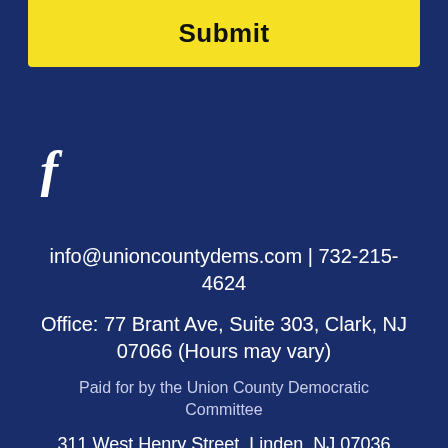Submit
[Figure (logo): Facebook icon 'f' in white on dark navy background]
info@unioncountydems.com | 732-215-4624
Office: 77 Brant Ave, Suite 303, Clark, NJ 07066 (Hours may vary)
Paid for by the Union County Democratic Committee
311 West Henry Street, Linden, NJ 07036